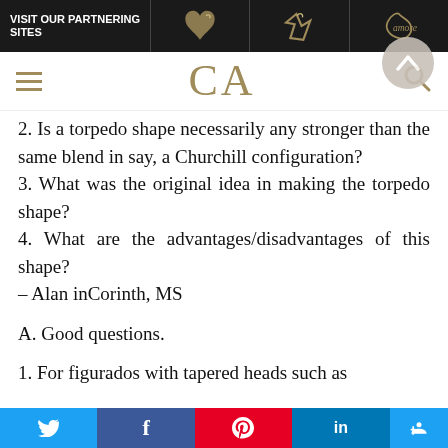VISIT OUR PARTNERING SITES
2. Is a torpedo shape necessarily any stronger than the same blend in say, a Churchill configuration?
3. What was the original idea in making the torpedo shape?
4. What are the advantages/disadvantages of this shape?
– Alan inCorinth, MS
A. Good questions.
1. For figurados with tapered heads such as